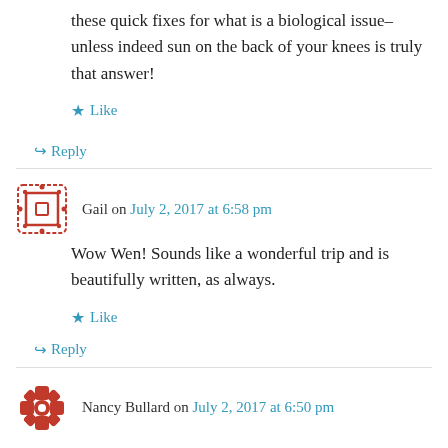these quick fixes for what is a biological issue–unless indeed sun on the back of your knees is truly that answer!
Like
↳ Reply
Gail on July 2, 2017 at 6:58 pm
Wow Wen! Sounds like a wonderful trip and is beautifully written, as always.
Like
↳ Reply
Nancy Bullard on July 2, 2017 at 6:50 pm